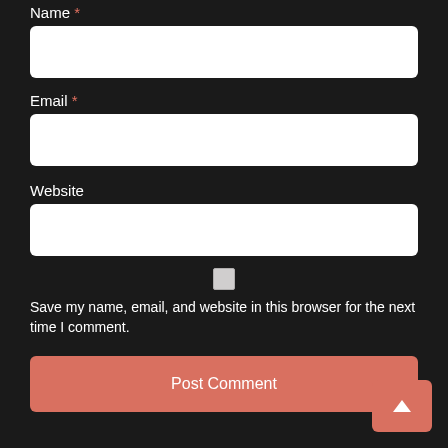Name *
[Figure (screenshot): Empty text input field for Name]
Email *
[Figure (screenshot): Empty text input field for Email]
Website
[Figure (screenshot): Empty text input field for Website]
[Figure (screenshot): Checkbox (unchecked) for saving name, email, and website]
Save my name, email, and website in this browser for the next time I comment.
Post Comment
[Figure (screenshot): Scroll to top button with upward arrow]